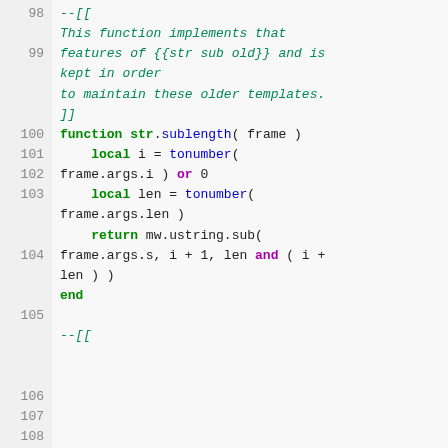Code listing lines 98-108 showing Lua source code with syntax highlighting. Lines 98-101 contain a comment block. Lines 102-106 define function str.sublength(frame). Line 107 is blank. Line 108 starts another comment.